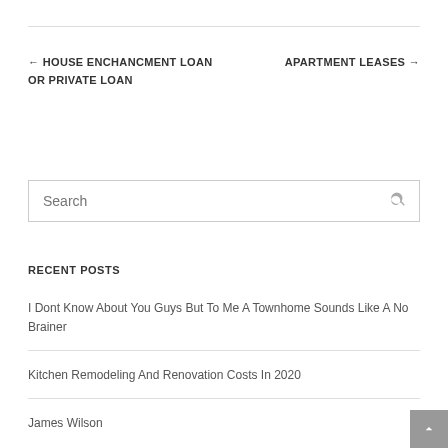← HOUSE ENCHANCMENT LOAN OR PRIVATE LOAN
APARTMENT LEASES →
Search
RECENT POSTS
I Dont Know About You Guys But To Me A Townhome Sounds Like A No Brainer
Kitchen Remodeling And Renovation Costs In 2020
James Wilson